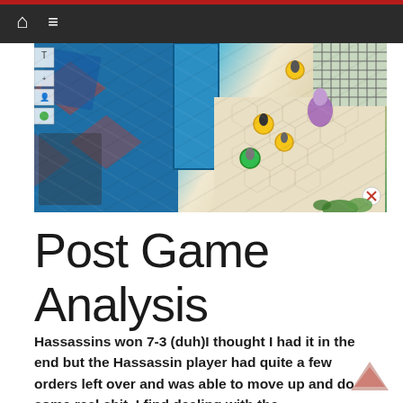Navigation bar with home and menu icons
[Figure (screenshot): Tabletop miniature game board screenshot showing blue sci-fi terrain tiles with hexagonal floor sections, miniature figures with yellow and green bases, and a grid-like solar panel structure in the top right corner.]
Post Game Analysis
Hassassins won 7-3 (duh)I thought I had it in the end but the Hassassin player had quite a few orders left over and was able to move up and do some real shit. I find dealing with the figure was difficult and I believe I was a